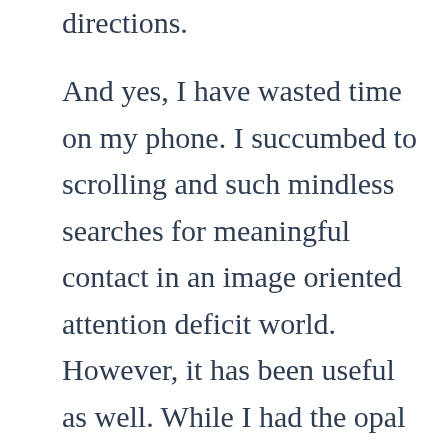directions.
And yes, I have wasted time on my phone. I succumbed to scrolling and such mindless searches for meaningful contact in an image oriented attention deficit world. However, it has been useful as well. While I had the opal app, I loved having transport info at my